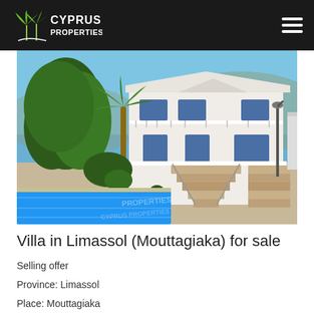Cyprus Properties
[Figure (photo): Exterior photo of a large white villa with balconies, palm trees, lush greenery, exterior staircase, and a blue swimming pool in the foreground. Watermark text reads 'PROPERTIES' in the lower right area.]
Villa in Limassol (Mouttagiaka) for sale
Selling offer
Province: Limassol
Place: Mouttagiaka
Real estate agency 440 m2, Plot of land 1 m2,